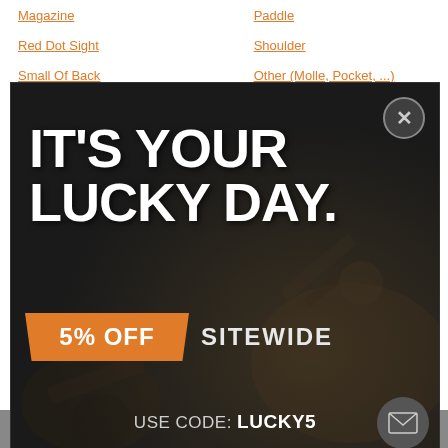Magazine
Paddle
Red Dot Sight
Shoulder
Small Of Back
Other (Molle, Pocket, ...)
[Figure (screenshot): Promotional popup overlay on a dark background showing gear/equipment photo. Contains large bold white text 'IT'S YOUR LUCKY DAY.' with an orange badge '5% OFF' and text 'SITEWIDE'. Below reads 'USE CODE: LUCKY5'. A circular close button (X) appears top right. A mail icon button appears bottom right.]
0 SHARES [Facebook] [Twitter] [+]